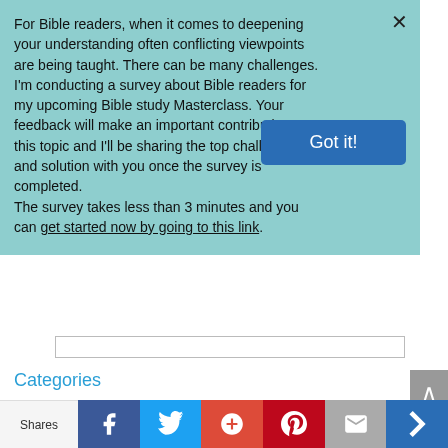For Bible readers, when it comes to deepening your understanding often conflicting viewpoints are being taught. There can be many challenges.
I'm conducting a survey about Bible readers for my upcoming Bible study Masterclass. Your feedback will make an important contribution to this topic and I'll be sharing the top challenges and solution with you once the survey is completed.
The survey takes less than 3 minutes and you can get started now by going to this link.
Got it!
Categories
We use cookies to ensure that we give you the best experience on our website. If you continue to use this site we will assume that you are happy with it.
Shares